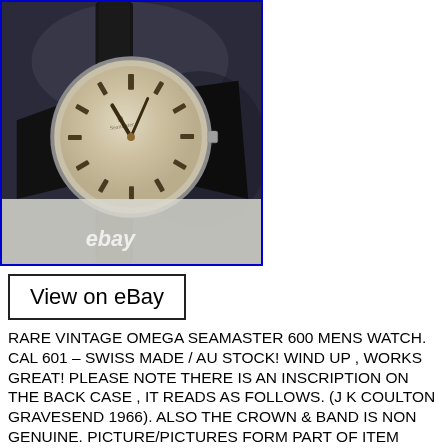[Figure (photo): Vintage Omega Seamaster 600 wristwatch with cream/aged dial, baton hour markers, dark leather strap, with 'ebay' watermark overlay. Blue border around image.]
View on eBay
RARE VINTAGE OMEGA SEAMASTER 600 MENS WATCH. CAL 601 – SWISS MADE / AU STOCK! WIND UP , WORKS GREAT! PLEASE NOTE THERE IS AN INSCRIPTION ON THE BACK CASE , IT READS AS FOLLOWS. (J K COULTON GRAVESEND 1966). ALSO THE CROWN & BAND IS NON GENUINE. PICTURE/PICTURES FORM PART OF ITEM DESCRIPTION / LISTING. THE ITEM IS USED , WORKS AS